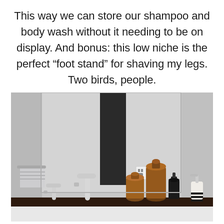This way we can store our shampoo and body wash without it needing to be on display. And bonus: this low niche is the perfect “foot stand” for shaving my legs. Two birds, people.
[Figure (photo): A bathroom vanity area photographed in the mirror reflection, showing chrome faucets, amber glass bottles/jars on a dark countertop, a soap dispenser, an electrical outlet, and a white tiled wall with a towel bar in the background.]